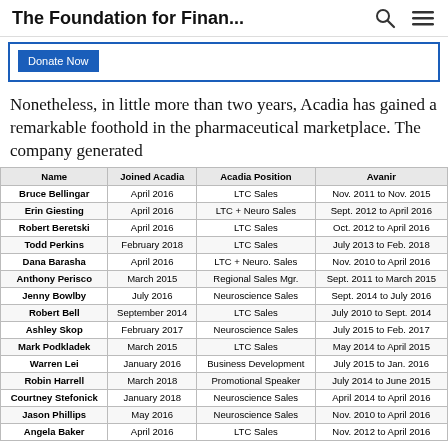The Foundation for Finan...
Nonetheless, in little more than two years, Acadia has gained a remarkable foothold in the pharmaceutical marketplace. The company generated
| Name | Joined Acadia | Acadia Position | Avanir |
| --- | --- | --- | --- |
| Bruce Bellingar | April 2016 | LTC Sales | Nov. 2011 to Nov. 2015 |
| Erin Giesting | April 2016 | LTC + Neuro Sales | Sept. 2012 to April 2016 |
| Robert Beretski | April 2016 | LTC Sales | Oct. 2012 to April 2016 |
| Todd Perkins | February 2018 | LTC Sales | July 2013 to Feb. 2018 |
| Dana Barasha | April 2016 | LTC + Neuro. Sales | Nov. 2010 to April 2016 |
| Anthony Perisco | March 2015 | Regional Sales Mgr. | Sept. 2011 to March 2015 |
| Jenny Bowlby | July 2016 | Neuroscience Sales | Sept. 2014 to July 2016 |
| Robert Bell | September 2014 | LTC Sales | July 2010 to Sept. 2014 |
| Ashley Skop | February 2017 | Neuroscience Sales | July 2015 to Feb. 2017 |
| Mark Podkladek | March 2015 | LTC Sales | May 2014 to April 2015 |
| Warren Lei | January 2016 | Business Development | July 2015 to Jan. 2016 |
| Robin Harrell | March 2018 | Promotional Speaker | July 2014 to June 2015 |
| Courtney Stefonick | January 2018 | Neuroscience Sales | April 2014 to April 2016 |
| Jason Phillips | May 2016 | Neuroscience Sales | Nov. 2010 to April 2016 |
| Angela Baker | April 2016 | LTC Sales | Nov. 2012 to April 2016 |